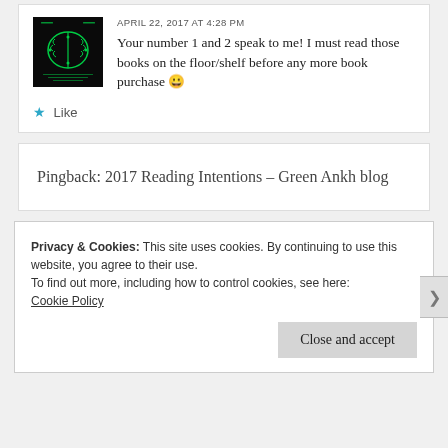[Figure (photo): Avatar thumbnail showing dark background with green brain/circuit design]
APRIL 22, 2017 AT 4:28 PM
Your number 1 and 2 speak to me! I must read those books on the floor/shelf before any more book purchase 😀
★ Like
Pingback: 2017 Reading Intentions – Green Ankh blog
Privacy & Cookies: This site uses cookies. By continuing to use this website, you agree to their use.
To find out more, including how to control cookies, see here:
Cookie Policy
Close and accept